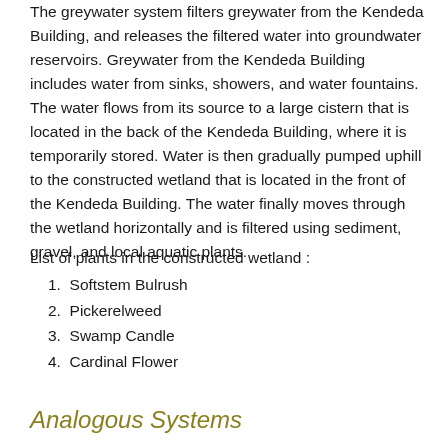The greywater system filters greywater from the Kendeda Building, and releases the filtered water into groundwater reservoirs. Greywater from the Kendeda Building includes water from sinks, showers, and water fountains. The water flows from its source to a large cistern that is located in the back of the Kendeda Building, where it is temporarily stored. Water is then gradually pumped uphill to the constructed wetland that is located in the front of the Kendeda Building. The water finally moves through the wetland horizontally and is filtered using sediment, gravel, and local aquatic plants.
List of plants in the constructed wetland :
1. Softstem Bulrush
2. Pickerelweed
3. Swamp Candle
4. Cardinal Flower
Analogous Systems